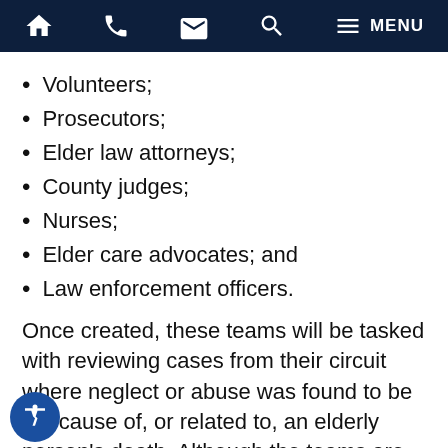Navigation bar with home, phone, email, search, and menu icons
Volunteers;
Prosecutors;
Elder law attorneys;
County judges;
Nurses;
Elder care advocates; and
Law enforcement officers.
Once created, these teams will be tasked with reviewing cases from their circuit where neglect or abuse was found to be the cause of, or related to, an elderly person's death. Although the teams are limited to reviewing cases that have been closed by the State Attorney's Office, they are not restricted to cases that resulted in criminal prosecution. Instead, the State